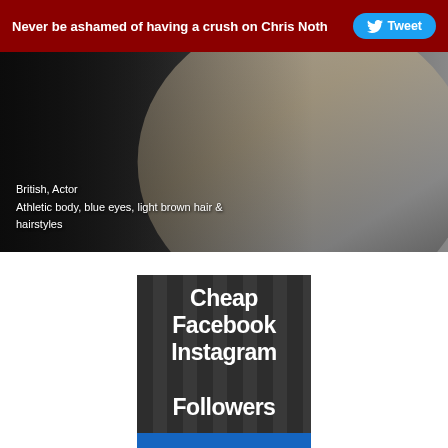Never be ashamed of having a crush on Chris Noth  Tweet
[Figure (photo): Man in white shirt, actor photo with dark overlay background. Text overlay reads: British, Actor. Athletic body, blue eyes, light brown hair & hairstyles.]
British, Actor
Athletic body, blue eyes, light brown hair & hairstyles
[Figure (infographic): Dark striped advertisement block with white bold text reading 'Cheap Facebook Instagram Followers' and a blue bar at the bottom.]